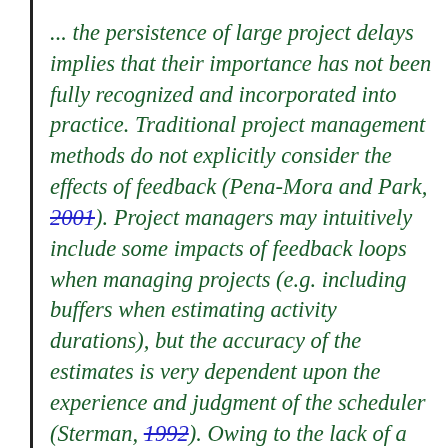... the persistence of large project delays implies that their importance has not been fully recognized and incorporated into practice. Traditional project management methods do not explicitly consider the effects of feedback (Pena-Mora and Park, 2001). Project managers may intuitively include some impacts of feedback loops when managing projects (e.g. including buffers when estimating activity durations), but the accuracy of the estimates is very dependent upon the experience and judgment of the scheduler (Sterman, 1992). Owing to the lack of a widely used systematic